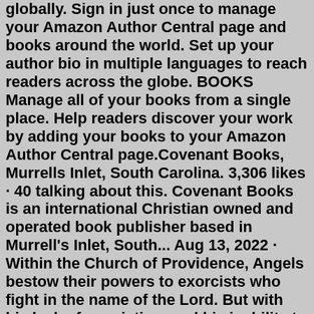globally. Sign in just once to manage your Amazon Author Central page and books around the world. Set up your author bio in multiple languages to reach readers across the globe. BOOKS Manage all of your books from a single place. Help readers discover your work by adding your books to your Amazon Author Central page.Covenant Books, Murrells Inlet, South Carolina. 3,306 likes · 40 talking about this. Covenant Books is an international Christian owned and operated book publisher based in Murrell's Inlet, South... Aug 13, 2022 · Within the Church of Providence, Angels bestow their powers to exorcists who fight in the name of the Lord. But with his lack of conviction, and his inability to believe in God, Ezra struggles to protect his college classmate from rising demonic forces. FaithWriters is a wonderful platform for Christian writers. If you are looking for Christian writing lessons online and exposure for your articles, then you are in the right place. We also offer Christian author help, a Christian writer critique circle and Christian writing contests. Plus, as your